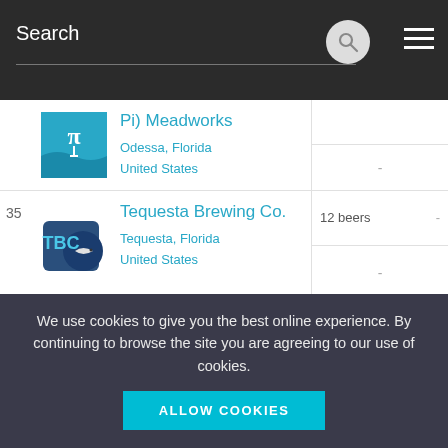Search
Pi) Meadworks – Odessa, Florida, United States
35 Tequesta Brewing Co. – Tequesta, Florida, United States – 12 beers
36 Fort Myers Brewing Company – 2 beers
We use cookies to give you the best online experience. By continuing to browse the site you are agreeing to our use of cookies.